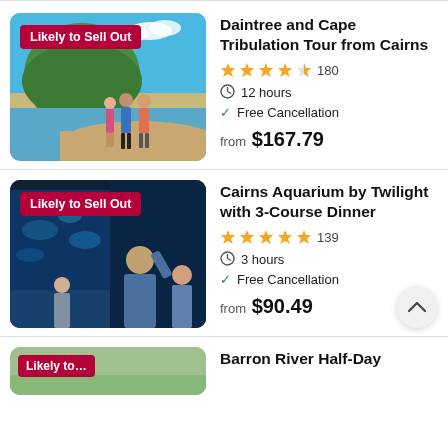[Figure (photo): Photo of three people walking on a beach with a green island hill in the background and blue sky. Badge reads 'Likely to Sell Out'.]
Daintree and Cape Tribulation Tour from Cairns
4.5 stars, 180 reviews. 12 hours. Free Cancellation. from $167.79
[Figure (photo): Photo of visitors at an aquarium at night, watching large fish through glass panels. Badge reads 'Likely to Sell Out'.]
Cairns Aquarium by Twilight with 3-Course Dinner
5 stars, 139 reviews. 3 hours. Free Cancellation. from $90.49
[Figure (photo): Partial photo of Barron River Half-Day listing with red badge, partially visible.]
Barron River Half-Day